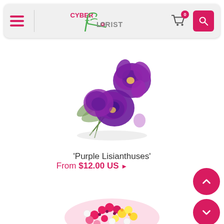Cyber Florist - navigation header with hamburger menu, logo, cart (0 items), and search button
[Figure (photo): Three purple lisianthus flowers with green stems on a white background]
'Purple Lisianthuses'
From $12.00 US ▶
[Figure (photo): Round bouquet of mixed colorful flowers (pink, yellow, white) viewed from above on white background]